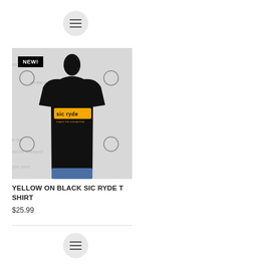[Figure (other): Circular menu/hamburger icon button at top]
[Figure (photo): Photo of a black t-shirt with yellow 'sic ryde' logo on a mannequin, displayed against a branded backdrop. A black badge with 'NEW!' text is overlaid in the top-left corner of the image.]
YELLOW ON BLACK SIC RYDE T SHIRT
$25.99
[Figure (other): Circular menu/hamburger icon button at bottom]